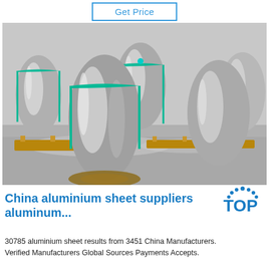Get Price
[Figure (photo): Large rolls of aluminium sheet/foil coils stacked on wooden pallets in an industrial warehouse. The coils are silver metallic with teal/green banding straps. Concrete floor visible.]
China aluminium sheet suppliers aluminúm...
[Figure (logo): TOP logo with blue dots arranged in a semicircle above the letters TOP in blue]
30785 aluminium sheet results from 3451 China Manufacturers. Verified Manufacturers Global Sources Payments Accepts.